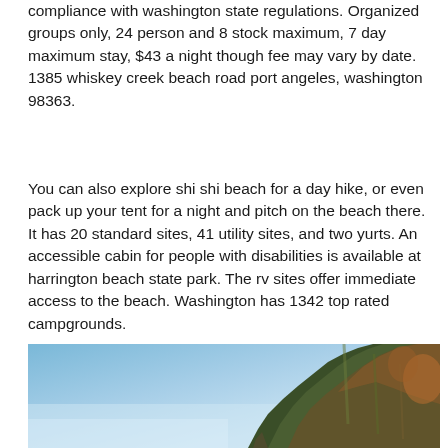compliance with washington state regulations. Organized groups only, 24 person and 8 stock maximum, 7 day maximum stay, $43 a night though fee may vary by date. 1385 whiskey creek beach road port angeles, washington 98363.
You can also explore shi shi beach for a day hike, or even pack up your tent for a night and pitch on the beach there. It has 20 standard sites, 41 utility sites, and two yurts. An accessible cabin for people with disabilities is available at harrington beach state park. The rv sites offer immediate access to the beach. Washington has 1342 top rated campgrounds.
[Figure (photo): A photograph showing a clear blue sky on the left and a forested hillside or cliff with dense trees (appearing to be autumn/evergreen mix) on the right side of the image.]